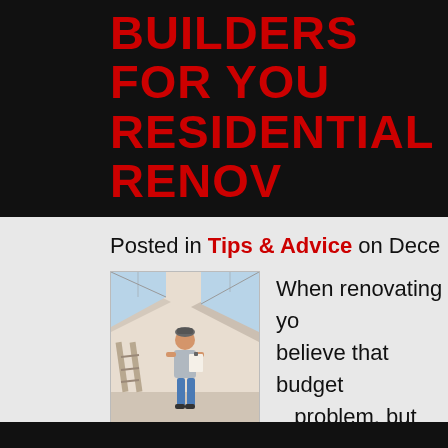BUILDERS FOR YOUR RESIDENTIAL RENOV...
Posted in Tips & Advice on Dece...
[Figure (photo): Man standing in an empty room under renovation, holding a clipboard or document, with slanted ceiling windows and construction materials visible]
When renovating yo... believe that budget... problem, but not se... Brisbane builders can be an eve... Whether you want major structu... home, an addition or... Read mo...